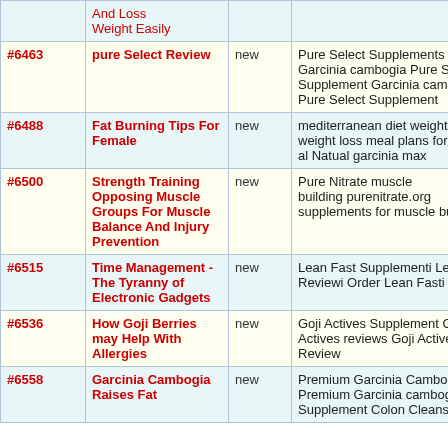| # | Title | Status | Keywords |
| --- | --- | --- | --- |
| #6463 | pure Select Review | new | Pure Select Supplements Garcinia cambogia Pure Select Supplement Garcinia cambogia Pure Select Supplement |
| #6488 | Fat Burning Tips For Female | new | mediterranean diet weight loss weight loss meal plans for women al Natual garcinia max |
| #6500 | Strength Training Opposing Muscle Groups For Muscle Balance And Injury Prevention | new | Pure Nitrate muscle building purenitrate.org supplements for muscle building |
| #6515 | Time Management - The Tyranny of Electronic Gadgets | new | Lean Fast Supplementi Lean Fast Reviewi Order Lean Fasti |
| #6536 | How Goji Berries may Help With Allergies | new | Goji Actives Supplement Goji Actives reviews Goji Actives Review |
| #6558 | Garcinia Cambogia Raises Fat | new | Premium Garcinia Cambogia Premium Garcinia cambogia Supplement Colon Cleanse |